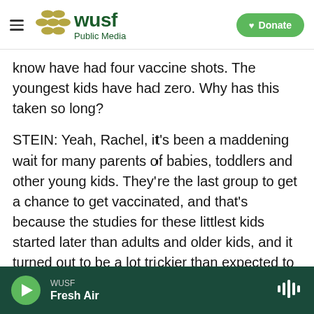WUSF Public Media — Donate
know have had four vaccine shots. The youngest kids have had zero. Why has this taken so long?

STEIN: Yeah, Rachel, it's been a maddening wait for many parents of babies, toddlers and other young kids. They're the last group to get a chance to get vaccinated, and that's because the studies for these littlest kids started later than adults and older kids, and it turned out to be a lot trickier than expected to find just the right dose for these littlest ones. But it looks like Moderna and Pfizer and BioNTech finally did it. The FDA has released the agency's assessments of both vaccines and
WUSF — Fresh Air